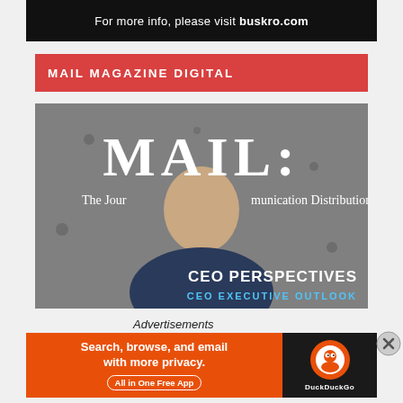[Figure (photo): Black banner ad with text: For more info, please visit buskro.com]
MAIL MAGAZINE DIGITAL
[Figure (photo): Magazine cover for MAIL: The Journal of Communication Distribution, featuring a bald man in a dark shirt against a concrete wall, with text CEO PERSPECTIVES and CEO EXECUTIVE OUTLOOK]
Advertisements
[Figure (photo): DuckDuckGo advertisement: Search, browse, and email with more privacy. All in One Free App]